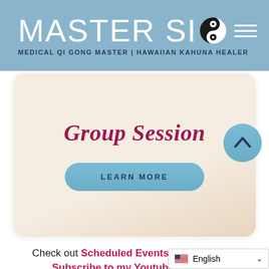MASTER SIO — MEDICAL QI GONG MASTER | HAWAIIAN KAHUNA HEALER
[Figure (screenshot): Group Session card with Learn More button on a light beige/cream rounded card]
Group Session
LEARN MORE
Check out Scheduled Events here & Please Subscribe to my Youtube Channel
English